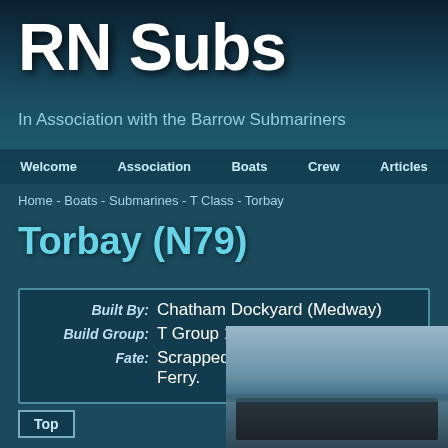RN Subs
In Association with the Barrow Submariners
Welcome   Association   Boats   Crew   Articles
Home - Boats - Submarines - T Class - Torbay
Torbay (N79)
| Built By: | Chatham Dockyard (Medway) |
| Build Group: | T Group 1 |
| Fate: | Scrapped in March 1947 at Briton Ferry. |
[Figure (photo): Black and white photograph of submarine Torbay at sea]
Top